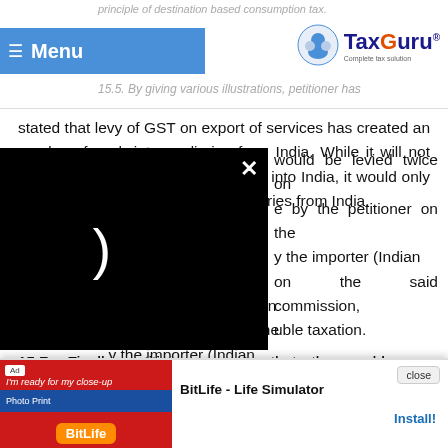principle of destination based consumption tax.
15.5. By giving various illustrations, petitioner has
stated that levy of GST on export of services has created an exodus of such intermediaries from India. While it will not have any impact on import of goods into India, it would only lead to extinguishment of intermediaries from India.
...would be levied twice on ...e by the petitioner on the ...y the importer (Indian ...on the said commission, ...uble taxation.
15.7. Finally petitioner asserts that the world over intermediary services are treated as export of services and accordingly not subject to VAT / GST... and